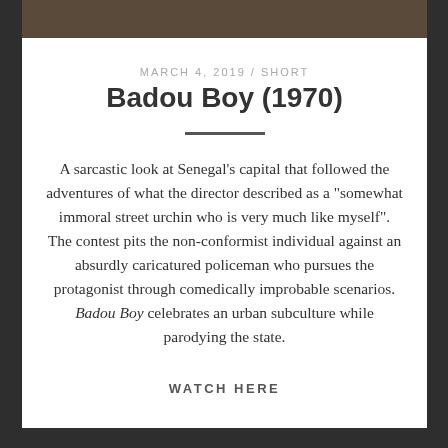[Figure (photo): Partial image strip at top of card showing a scene from the film Badou Boy]
MARCH 4, 2019 / SHORT
Badou Boy (1970)
A sarcastic look at Senegal's capital that followed the adventures of what the director described as a "somewhat immoral street urchin who is very much like myself". The contest pits the non-conformist individual against an absurdly caricatured policeman who pursues the protagonist through comedically improbable scenarios. Badou Boy celebrates an urban subculture while parodying the state.
WATCH HERE